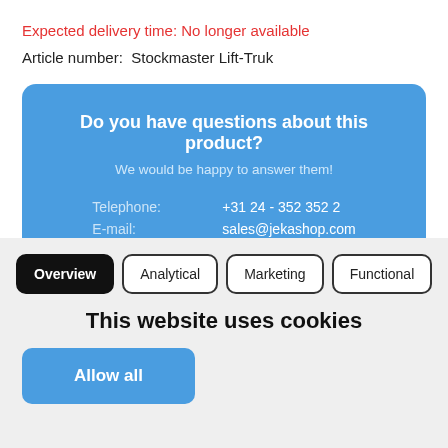Expected delivery time: No longer available
Article number:  Stockmaster Lift-Truk
Do you have questions about this product?
We would be happy to answer them!
Telephone:  +31 24 - 352 352 2
E-mail:  sales@jekashop.com
Overview
Analytical
Marketing
Functional
This website uses cookies
Allow all